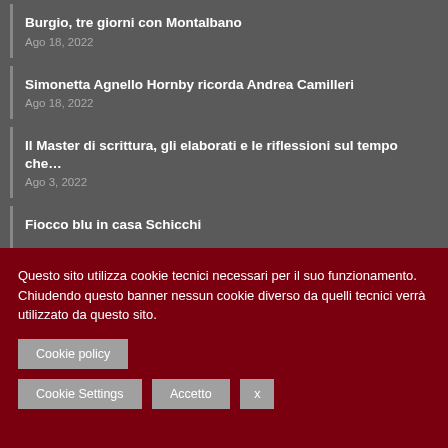Burgio, tre giorni con Montalbano
Ago 18, 2022
Simonetta Agnello Hornby ricorda Andrea Camilleri
Ago 18, 2022
Il Master di scrittura, gli elaborati e le riflessioni sul tempo che…
Ago 3, 2022
Fiocco blu in casa Schicchi
Questo sito utilizza cookie tecnici necessari per il suo funzionamento. Chiudendo questo banner nessun cookie diverso da quelli tecnici verrà utilizzato da questo sito.
Cookie policy
Cookie Settings  Accetto  x